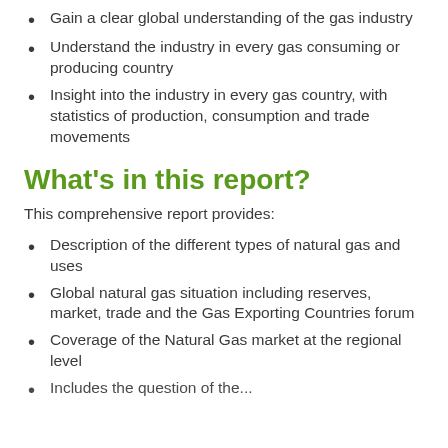Gain a clear global understanding of the gas industry
Understand the industry in every gas consuming or producing country
Insight into the industry in every gas country, with statistics of production, consumption and trade movements
What's in this report?
This comprehensive report provides:
Description of the different types of natural gas and uses
Global natural gas situation including reserves, market, trade and the Gas Exporting Countries forum
Coverage of the Natural Gas market at the regional level
Includes the question of the...